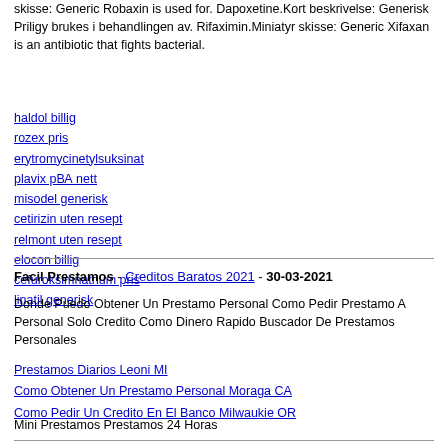skisse: Generic Robaxin is used for. Dapoxetine.Kort beskrivelse: Generisk Priligy brukes i behandlingen av. Rifaximin.Miniatyr skisse: Generic Xifaxan is an antibiotic that fights bacterial.
haldol billig
rozex pris
erytromycinetylsuksinat
plavix på nett
misodel generisk
cetirizin uten resept
relmont uten resept
elocon billig
cefuroksimnatrium pris
linatil generisk
Facil Prestamos - Creditos Baratos 2021 - 30-03-2021
Donde Puedo Obtener Un Prestamo Personal Como Pedir Prestamo A Personal Solo Credito Como Dinero Rapido Buscador De Prestamos Personales
Prestamos Diarios Leoni MI
Como Obtener Un Prestamo Personal Moraga CA
Como Pedir Un Credito En El Banco Milwaukie OR
Mini Prestamos Prestamos 24 Horas